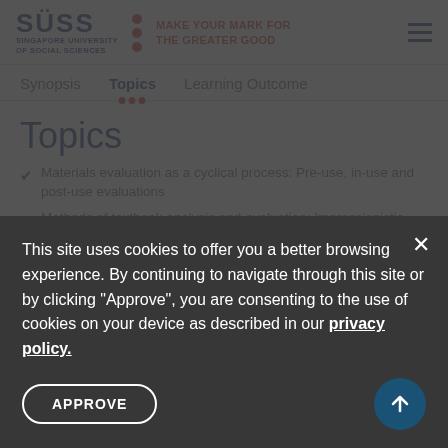[Figure (logo): SUSS - Singapore University of Social Sciences logo with tagline MAKE YOUR MARK FOR THE GREATER GOOD]
Synopsis | Topics | Learning Outcome
Topics
Materials evaluation as a cyclical process: Pre-use, in-use and post-use evaluations
Methods of textbook analysis and evaluation: Impressionistic method; checklist method; in-depth method
This site uses cookies to offer you a better browsing experience. By continuing to navigate through this site or by clicking "Approve", you are consenting to the use of cookies on your device as described in our privacy policy.